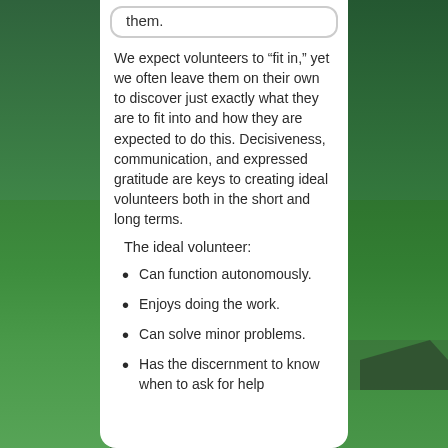[Figure (photo): Outdoor background with blue sky, tall green trees on left and right sides, green grass at bottom, people visible in distance near a building]
them.
We expect volunteers to “fit in,” yet we often leave them on their own to discover just exactly what they are to fit into and how they are expected to do this. Decisiveness, communication, and expressed gratitude are keys to creating ideal volunteers both in the short and long terms.
The ideal volunteer:
Can function autonomously.
Enjoys doing the work.
Can solve minor problems.
Has the discernment to know when to ask for help